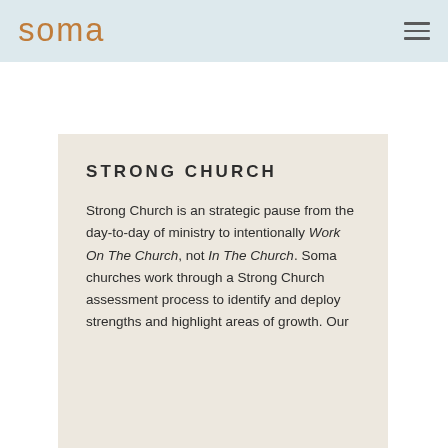soma [logo] [hamburger menu]
STRONG CHURCH
Strong Church is an strategic pause from the day-to-day of ministry to intentionally Work On The Church, not In The Church. Soma churches work through a Strong Church assessment process to identify and deploy strengths and highlight areas of growth. Our